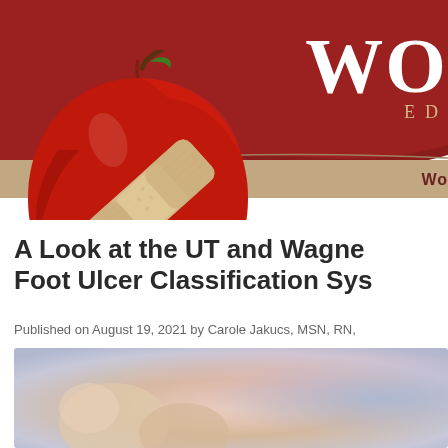[Figure (illustration): Website header with dark red curved background, large 'WO' text in white serif font on the right, 'ED' subtitle text below it in tan/gold, and a tan horizontal bar at the bottom with 'Wo' text. A red apple with a bandage/band-aid on it is positioned on the left overlapping the header.]
A Look at the UT and Wagner Foot Ulcer Classification Sys…
Published on August 19, 2021 by Carole Jakucs, MSN, RN,
[Figure (photo): Close-up photo of a foot or toe, blurred background with blue and pink tones.]